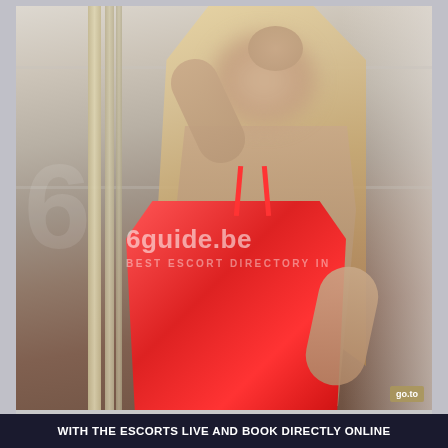[Figure (photo): A blonde woman wearing a red dress/lingerie poses in front of a window with curtains. Her face is blurred/obscured. A watermark reading '6guide.be / BEST ESCORT DIRECTORY IN' is overlaid on the image along with a large semi-transparent logo. A small corner badge reads 'go.to'.]
WITH THE ESCORTS LIVE AND BOOK DIRECTLY ONLINE